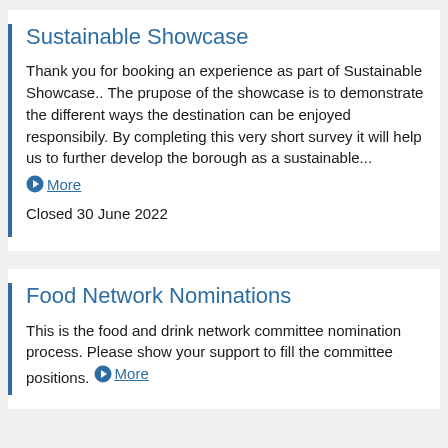Sustainable Showcase
Thank you for booking an experience as part of Sustainable Showcase.. The prupose of the showcase is to demonstrate the different ways the destination can be enjoyed responsibily. By completing this very short survey it will help us to further develop the borough as a sustainable... More
Closed 30 June 2022
Food Network Nominations
This is the food and drink network committee nomination process. Please show your support to fill the committee positions. More